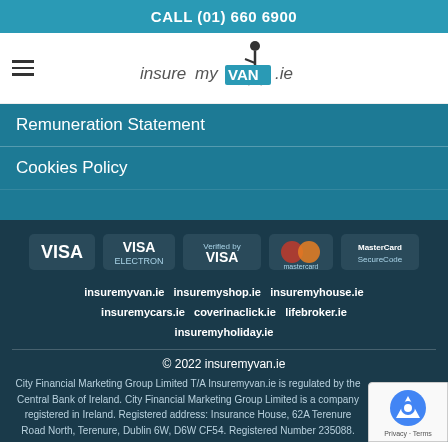CALL (01) 660 6900
[Figure (logo): insuremyVAN.ie logo with stylized figure holding a van sign]
Remuneration Statement
Cookies Policy
[Figure (infographic): Payment icons: VISA, VISA Electron, Verified by VISA, Mastercard, MasterCard SecureCode]
insuremyvan.ie   insuremyshop.ie   insuremyhouse.ie   insuremycars.ie   coverinaclick.ie   lifebroker.ie   insuremyholiday.ie
© 2022 insuremyvan.ie
City Financial Marketing Group Limited T/A Insuremyvan.ie is regulated by the Central Bank of Ireland. City Financial Marketing Group Limited is a company registered in Ireland. Registered address: Insurance House, 62A Terenure Road North, Terenure, Dublin 6W, D6W CF54. Registered Number 235088.